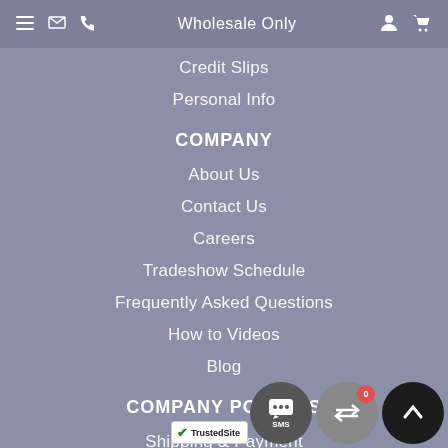Wholesale Only
Credit Slips
Personal Info
COMPANY
About Us
Contact Us
Careers
Tradeshow Schedule
Frequently Asked Questions
How to Videos
Blog
COMPANY POLICIES
Shipping & Payment
Return Policy
Forms & Application
Backorder
Terms of Use